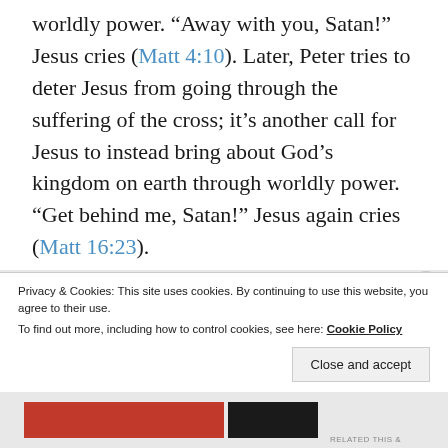worldly power. “Away with you, Satan!” Jesus cries (Matt 4:10). Later, Peter tries to deter Jesus from going through the suffering of the cross; it’s another call for Jesus to instead bring about God’s kingdom on earth through worldly power. “Get behind me, Satan!” Jesus again cries (Matt 16:23).
The way of “the satan” is the way of
Privacy & Cookies: This site uses cookies. By continuing to use this website, you agree to their use.
To find out more, including how to control cookies, see here: Cookie Policy
Close and accept